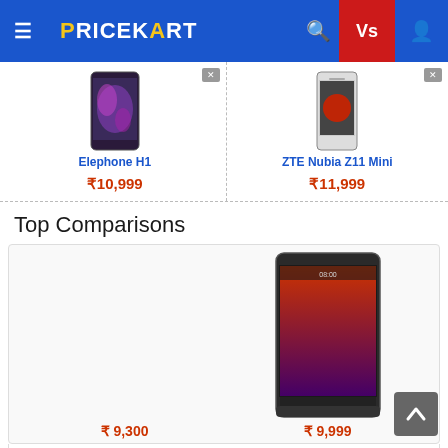PRICEKART
[Figure (screenshot): Product comparison bar showing Elephone H1 at ₹10,999 and ZTE Nubia Z11 Mini at ₹11,999]
Top Comparisons
[Figure (screenshot): Comparison card showing two phones with prices ₹9,300 and ₹9,999]
Gionee A1 vs Xiaomi Redmi Note 4 4GB RAM + 64GB